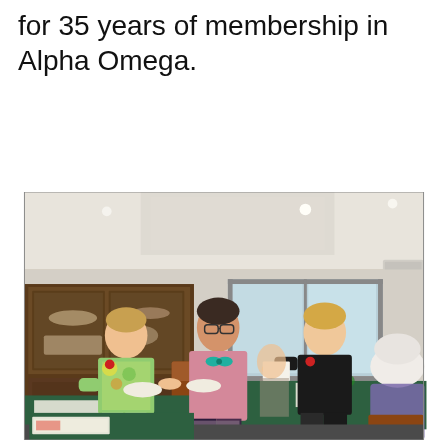for 35 years of membership in Alpha Omega.
[Figure (photo): Three women standing together indoors in a dining room setting. Tables with green tablecloths are visible in the background along with a wooden hutch. The women appear to be at a club or organization meeting, with papers and flowers on the tables.]